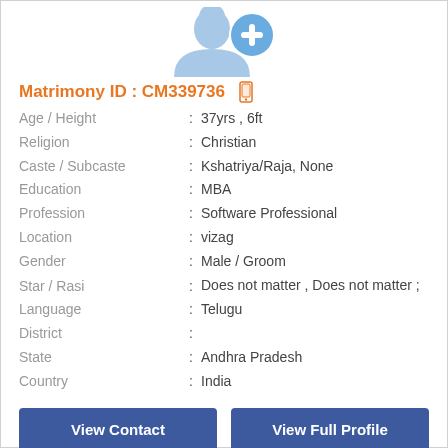[Figure (illustration): Profile avatar placeholder with add icon (blue silhouette of a person with a blue circle containing a plus sign)]
Matrimony ID : CM339736
Age / Height : 37yrs , 6ft
Religion : Christian
Caste / Subcaste : Kshatriya/Raja, None
Education : MBA
Profession : Software Professional
Location : vizag
Gender : Male / Groom
Star / Rasi : Does not matter , Does not matter ;
Language : Telugu
District :
State : Andhra Pradesh
Country : India
View Contact
View Full Profile